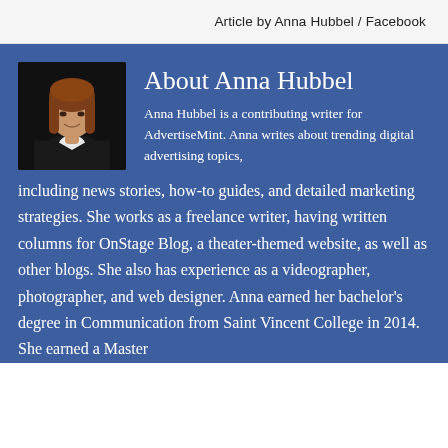Article by Anna Hubbel / Facebook
About Anna Hubbel
[Figure (photo): Professional headshot of Anna Hubbel, a woman with long reddish-brown hair, wearing a black blazer and white top, smiling, against a dark background.]
Anna Hubbel is a contributing writer for AdvertiseMint. Anna writes about trending digital advertising topics, including news stories, how-to guides, and detailed marketing strategies. She works as a freelance writer, having written columns for OnStage Blog, a theater-themed website, as well as other blogs. She also has experience as a videographer, photographer, and web designer. Anna earned her bachelor’s degree in Communication from Saint Vincent College in 2014. She earned a Master